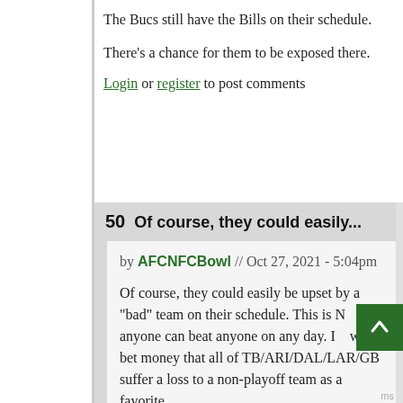The Bucs still have the Bills on their schedule.
There's a chance for them to be exposed there.
Login or register to post comments
50  Of course, they could easily...
by AFCNFCBowl // Oct 27, 2021 - 5:04pm
Of course, they could easily be upset by a "bad" team on their schedule. This is NFL anyone can beat anyone on any day. I would bet money that all of TB/ARI/DAL/LAR/GB suffer a loss to a non-playoff team as a favorite.